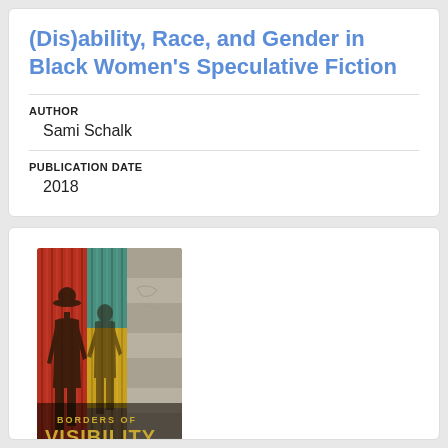(Dis)ability, Race, and Gender in Black Women's Speculative Fiction
AUTHOR
Sami Schalk
PUBLICATION DATE
2018
[Figure (photo): Book cover of 'Borders of Visibility: Haitian Migrant Women and the Dominican Nation-State' showing silhouettes of people against colorful corrugated metal walls in red, yellow, green, and grey tones. The title text 'BORDERS OF VISIBILITY' appears in gold letters.]